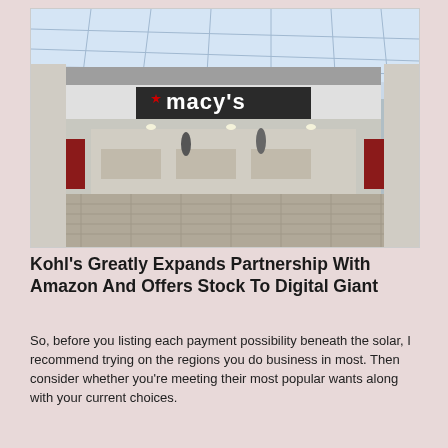[Figure (photo): Exterior photo of a Macy's department store inside a shopping mall, showing the storefront with the red star Macy's logo, glass ceiling skylights, and a tiled floor.]
Kohl's Greatly Expands Partnership With Amazon And Offers Stock To Digital Giant
So, before you listing each payment possibility beneath the solar, I recommend trying on the regions you do business in most. Then consider whether you're meeting their most popular wants along with your current choices.